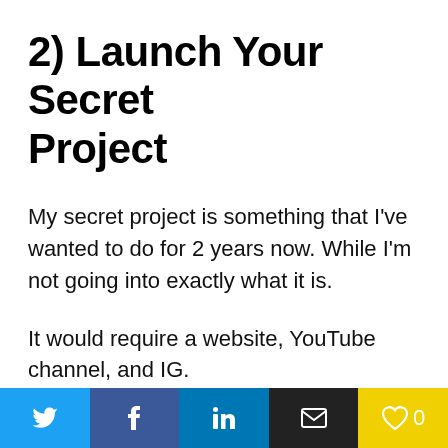2) Launch Your Secret Project
My secret project is something that I've wanted to do for 2 years now. While I'm not going into exactly what it is.
It would require a website, YouTube channel, and IG.
But most brands take at least a year to build. Of course, with my level of influence, I would be able
Twitter | Facebook | LinkedIn | Email | Heart 0